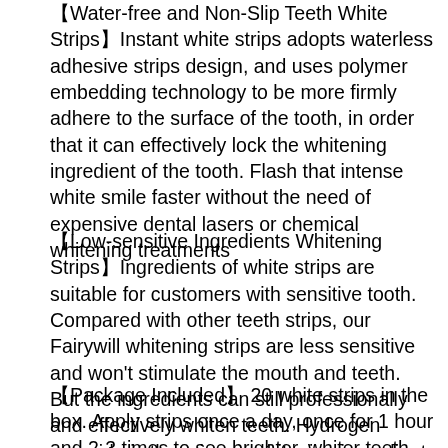【Water-free and Non-Slip Teeth White Strips】Instant white strips adopts waterless adhesive strips design, and uses polymer embedding technology to be more firmly adhere to the surface of the tooth, in order that it can effectively lock the whitening ingredient of the tooth. Flash that intense white smile faster without the need of expensive dental lasers or chemical whitening treatments
【Low-sensitive Ingredients Whitening Strips】Ingredients of white strips are suitable for customers with sensitive tooth. Compared with other teeth strips, our Fairywill whitening strips are less sensitive and won't stimulate the mouth and teeth. But the ingredients can still professionally and effectively whiten teeth. Hydrogen peroxide is the primary whitening ingredient
【Package Included】 20 white strips in the box. Apply strips once a day, once for 1 hour and 2-3 times to see brighter, whiter teeth. 1) Peel, 2) Apply 1 hour, 3) Reveal